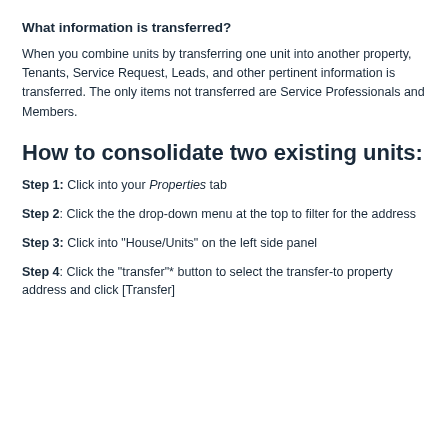What information is transferred?
When you combine units by transferring one unit into another property, Tenants, Service Request, Leads, and other pertinent information is transferred. The only items not transferred are Service Professionals and Members.
How to consolidate two existing units:
Step 1: Click into your Properties tab
Step 2: Click the the drop-down menu at the top to filter for the address
Step 3: Click into "House/Units" on the left side panel
Step 4: Click the "transfer"* button to select the transfer-to property address and click [Transfer]